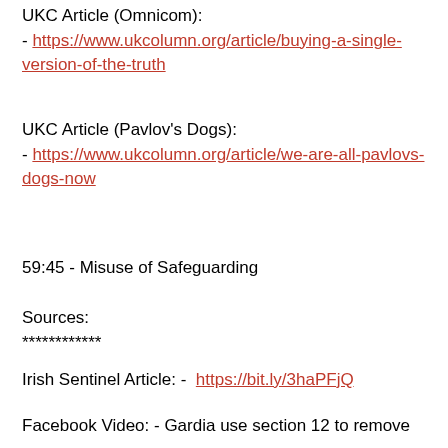UKC Article (Omnicom):
- https://www.ukcolumn.org/article/buying-a-single-version-of-the-truth
UKC Article (Pavlov's Dogs):
- https://www.ukcolumn.org/article/we-are-all-pavlovs-dogs-now
59:45 - Misuse of Safeguarding
Sources:
************
Irish Sentinel Article: -  https://bit.ly/3haPFjQ
Facebook Video: - Gardia use section 12 to remove